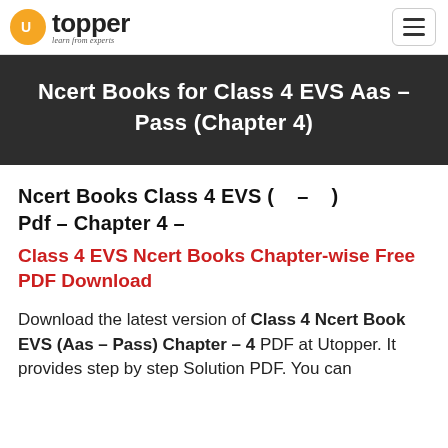Utopper — learn from experts
Ncert Books for Class 4 EVS Aas – Pass (Chapter 4)
Ncert Books Class 4 EVS ( — ) Pdf – Chapter 4 –
Class 4 EVS Ncert Books Chapter-wise Free PDF Download
Download the latest version of Class 4 Ncert Book EVS (Aas – Pass) Chapter – 4 PDF at Utopper. It provides step by step Solution PDF. You can